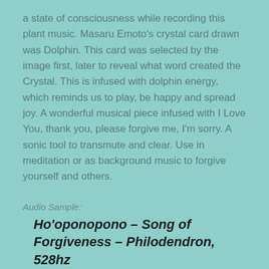a state of consciousness while recording this plant music. Masaru Emoto's crystal card drawn was Dolphin. This card was selected by the image first, later to reveal what word created the Crystal. This is infused with dolphin energy, which reminds us to play, be happy and spread joy. A wonderful musical piece infused with I Love You, thank you, please forgive me, I'm sorry. A sonic tool to transmute and clear. Use in meditation or as background music to forgive yourself and others.
Audio Sample:
Ho'oponopono – Song of Forgiveness – Philodendron, 528hz
51 minutes
$22